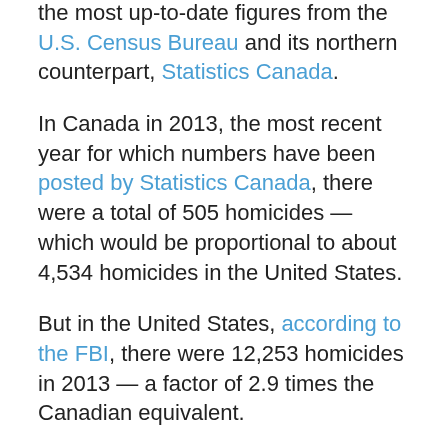the most up-to-date figures from the U.S. Census Bureau and its northern counterpart, Statistics Canada.
In Canada in 2013, the most recent year for which numbers have been posted by Statistics Canada, there were a total of 505 homicides — which would be proportional to about 4,534 homicides in the United States.
But in the United States, according to the FBI, there were 12,253 homicides in 2013 — a factor of 2.9 times the Canadian equivalent.
Now let's dig in a little further and look at the impact that gun violence might be having on these numbers. In the U.S. figures, 8,454 of these homicides — 69 percent — were committed with firearms, compared to only 26 percent in Canada — 131, or a U.S. equivalent of 1,179,